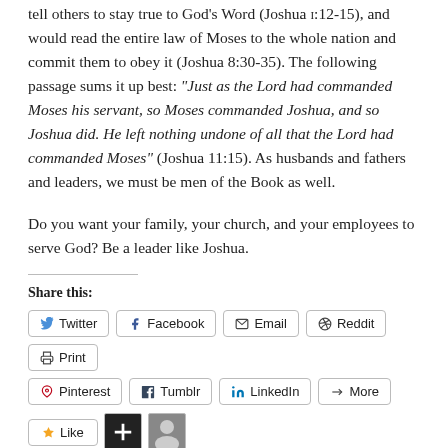...the only reason is his character discipline. He would tell others to stay true to God's Word (Joshua 1:12-15), and would read the entire law of Moses to the whole nation and commit them to obey it (Joshua 8:30-35). The following passage sums it up best: "Just as the Lord had commanded Moses his servant, so Moses commanded Joshua, and so Joshua did. He left nothing undone of all that the Lord had commanded Moses" (Joshua 11:15). As husbands and fathers and leaders, we must be men of the Book as well.
Do you want your family, your church, and your employees to serve God? Be a leader like Joshua.
Share this:
Twitter | Facebook | Email | Reddit | Print | Pinterest | Tumblr | LinkedIn | More
[Figure (other): Like button and two avatar images at bottom of page]